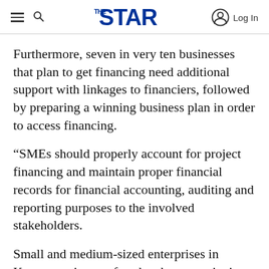THE STAR — Log In
Furthermore, seven in very ten businesses that plan to get financing need additional support with linkages to financiers, followed by preparing a winning business plan in order to access financing.
“SMEs should properly account for project financing and maintain proper financial records for financial accounting, auditing and reporting purposes to the involved stakeholders.
Small and medium-sized enterprises in Kenya continue to face harsh economic times as they strive to recover from the Covid-19 quagmire.